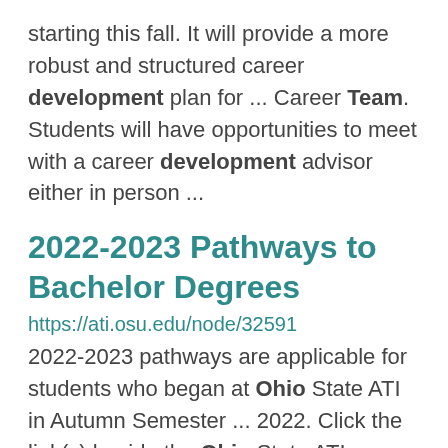starting this fall. It will provide a more robust and structured career development plan for ... Career Team. Students will have opportunities to meet with a career development advisor either in person ...
2022-2023 Pathways to Bachelor Degrees
https://ati.osu.edu/node/32591
2022-2023 pathways are applicable for students who began at Ohio State ATI in Autumn Semester ... 2022. Click the link(s) beside the Ohio State ATI Associate of Science degree name to view the ...